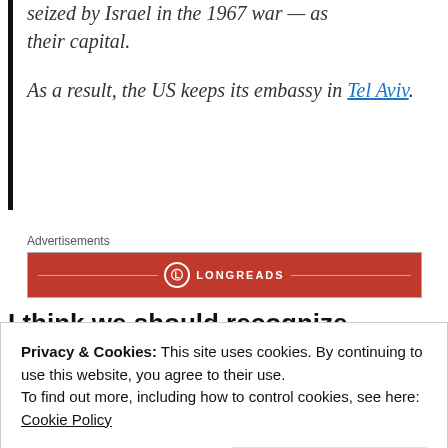seized by Israel in the 1967 war — as their capital.
As a result, the US keeps its embassy in Tel Aviv.
Advertisements
[Figure (logo): Longreads advertisement banner — red background with Longreads logo and name in white]
I think we should recognize Jerusalem as Israel's capital and move our embassy there.
Privacy & Cookies: This site uses cookies. By continuing to use this website, you agree to their use.
To find out more, including how to control cookies, see here:
Cookie Policy
Close and accept